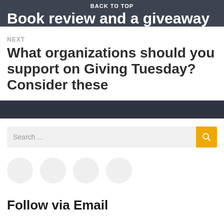BACK TO TOP
Book review and a giveaway
NEXT
What organizations should you support on Giving Tuesday? Consider these
Search ...
[Figure (other): Four social media icon circles (placeholder circles)]
Follow via Email